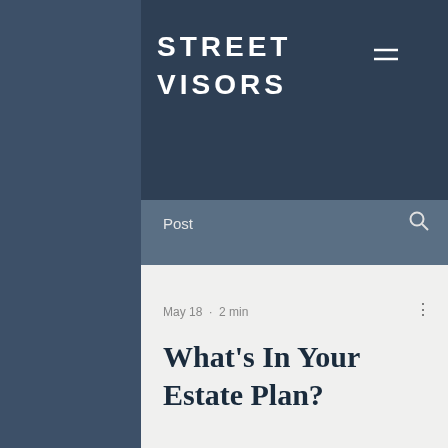STREET VISORS
Post
May 18 · 2 min
What's In Your Estate Plan?
[Figure (photo): Blurred photo of a person, partially visible, grayscale/muted tones]